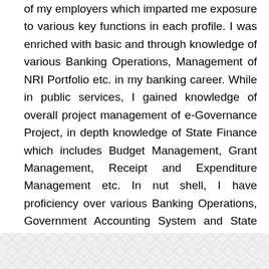of my employers which imparted me exposure to various key functions in each profile. I was enriched with basic and through knowledge of various Banking Operations, Management of NRI Portfolio etc. in my banking career. While in public services, I gained knowledge of overall project management of e-Governance Project, in depth knowledge of State Finance which includes Budget Management, Grant Management, Receipt and Expenditure Management etc. In nut shell, I have proficiency over various Banking Operations, Government Accounting System and State Fiscal Management.
Currently, I am looking after centralized accounting of State Goods and Services Tax (SGST) receipts of GoG.